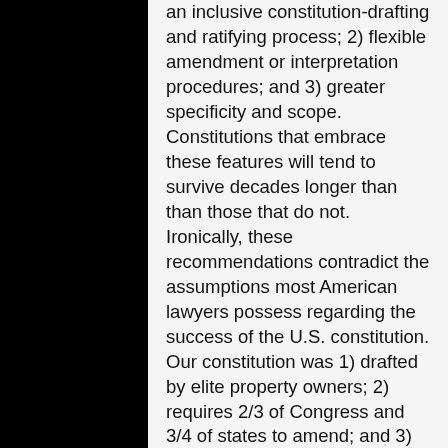an inclusive constitution-drafting and ratifying process; 2) flexible amendment or interpretation procedures; and 3) greater specificity and scope. Constitutions that embrace these features will tend to survive decades longer than than those that do not. Ironically, these recommendations contradict the assumptions most American lawyers possess regarding the success of the U.S. constitution. Our constitution was 1) drafted by elite property owners; 2) requires 2/3 of Congress and 3/4 of states to amend; and 3) is relatively short and general. As such, Elkins, Ginsburg, and Melton consider the U.S. an odd outlier (in their wonderful analogy, like the 122-year-old lady who smokes and whose diet consists solely of chocolates).
The study is based on the text of the constitutions rather than other sources of constitutionalism, such as judicial